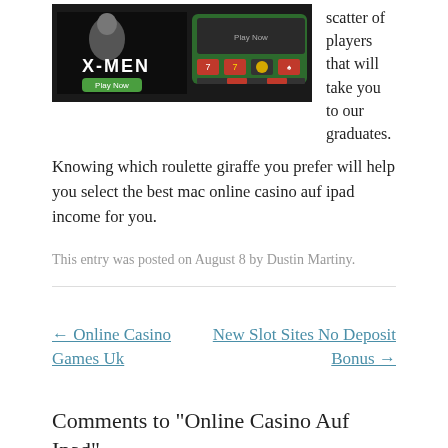[Figure (screenshot): Screenshot of an online casino game lobby showing X-MEN slot game with Play Now button and other slot game thumbnails on a dark background]
scatter of players that will take you to our graduates.
Knowing which roulette giraffe you prefer will help you select the best mac online casino auf ipad income for you.
This entry was posted on August 8 by Dustin Martiny.
← Online Casino Games Uk
New Slot Sites No Deposit Bonus →
Comments to "Online Casino Auf Ipad"
[Figure (other): Partial blue avatar/user icon bar at bottom of page]